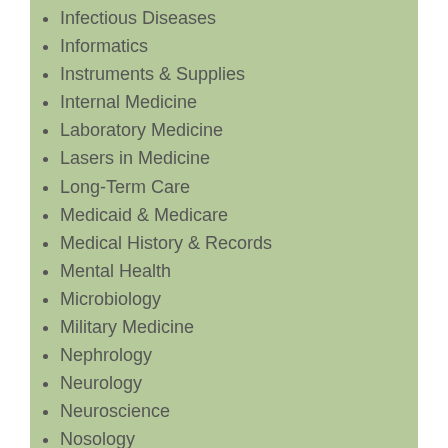Infectious Diseases
Informatics
Instruments & Supplies
Internal Medicine
Laboratory Medicine
Lasers in Medicine
Long-Term Care
Medicaid & Medicare
Medical History & Records
Mental Health
Microbiology
Military Medicine
Nephrology
Neurology
Neuroscience
Nosology
Nursing
Nursing Home Care
Nutrition